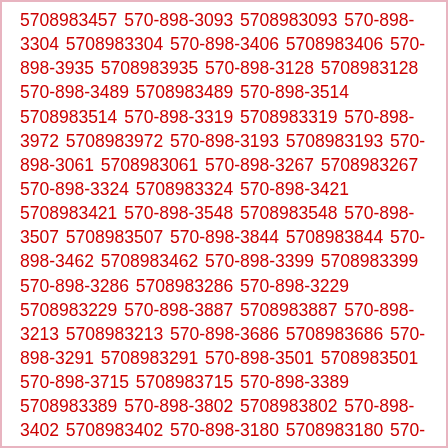5708983457 570-898-3093 5708983093 570-898-3304 5708983304 570-898-3406 5708983406 570-898-3935 5708983935 570-898-3128 5708983128 570-898-3489 5708983489 570-898-3514 5708983514 570-898-3319 5708983319 570-898-3972 5708983972 570-898-3193 5708983193 570-898-3061 5708983061 570-898-3267 5708983267 570-898-3324 5708983324 570-898-3421 5708983421 570-898-3548 5708983548 570-898-3507 5708983507 570-898-3844 5708983844 570-898-3462 5708983462 570-898-3399 5708983399 570-898-3286 5708983286 570-898-3229 5708983229 570-898-3887 5708983887 570-898-3213 5708983213 570-898-3686 5708983686 570-898-3291 5708983291 570-898-3501 5708983501 570-898-3715 5708983715 570-898-3389 5708983389 570-898-3802 5708983802 570-898-3402 5708983402 570-898-3180 5708983180 570-898-3181 5708983181 570-898-3365 5708983365 570-898-3045 5708983045 570-...